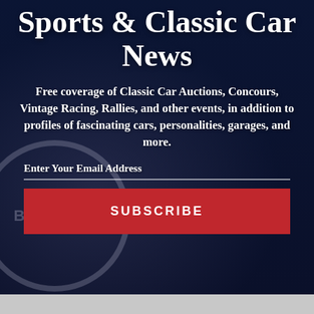Sports & Classic Car News
Free coverage of Classic Car Auctions, Concours, Vintage Racing, Rallies, and other events, in addition to profiles of fascinating cars, personalities, garages, and more.
Enter Your Email Address
SUBSCRIBE